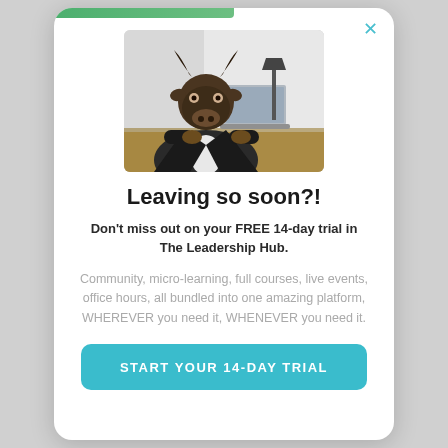[Figure (photo): A person wearing a bull/bison mask dressed in a business suit, sitting at a desk working on a laptop computer in an office setting.]
Leaving so soon?!
Don't miss out on your FREE 14-day trial in The Leadership Hub.
Community, micro-learning, full courses, live events, office hours, all bundled into one amazing platform, WHEREVER you need it, WHENEVER you need it.
START YOUR 14-DAY TRIAL